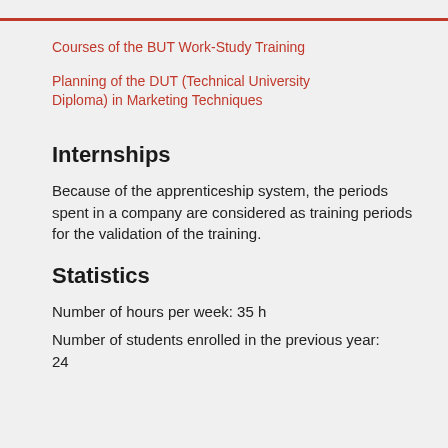Courses of the BUT Work-Study Training
Planning of the DUT (Technical University Diploma) in Marketing Techniques
Internships
Because of the apprenticeship system, the periods spent in a company are considered as training periods for the validation of the training.
Statistics
Number of hours per week: 35 h
Number of students enrolled in the previous year: 24